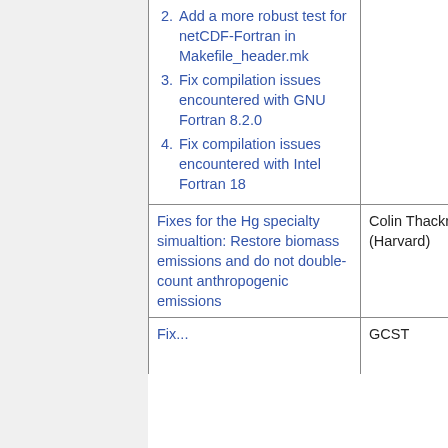| Description | Author |
| --- | --- |
| 1. ..compatibility with gfortran 6+ when using GCHP
2. Add a more robust test for netCDF-Fortran in Makefile_header.mk
3. Fix compilation issues encountered with GNU Fortran 8.2.0
4. Fix compilation issues encountered with Intel Fortran 18 |  |
| Fixes for the Hg specialty simualtion: Restore biomass emissions and do not double-count anthropogenic emissions | Colin Thackray (Harvard) |
| Fix ... | GCST |